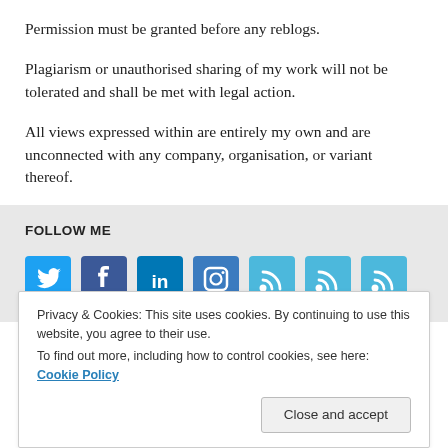Permission must be granted before any reblogs.
Plagiarism or unauthorised sharing of my work will not be tolerated and shall be met with legal action.
All views expressed within are entirely my own and are unconnected with any company, organisation, or variant thereof.
FOLLOW ME
[Figure (infographic): Row of seven social media icons in blue: Twitter bird, Facebook F, LinkedIn in, Instagram camera, and three RSS feed icons of varying sizes]
Privacy & Cookies: This site uses cookies. By continuing to use this website, you agree to their use.
To find out more, including how to control cookies, see here: Cookie Policy
Close and accept